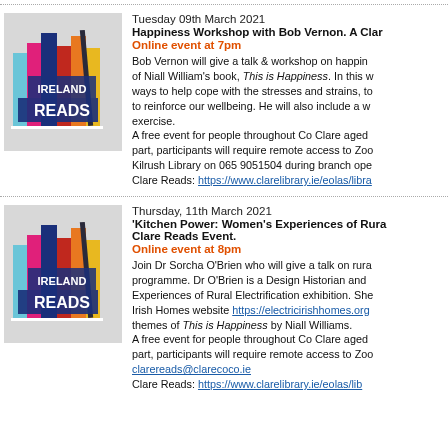[Figure (logo): Ireland Reads logo with colorful book spines]
Tuesday 09th March 2021
Happiness Workshop with Bob Vernon. A Clare Reads Event.
Online event at 7pm
Bob Vernon will give a talk & workshop on happiness inspired by the themes of Niall William's book, This is Happiness. In this workshop, he will explore ways to help cope with the stresses and strains, to improve our mindset and to reinforce our wellbeing. He will also include a wellbeing/mindfulness exercise.
A free event for people throughout Co Clare aged 18+. To register to take part, participants will require remote access to Zoom. Please contact Kilrush Library on 065 9051504 during branch opening hours or email Clare Reads: https://www.clarelibrary.ie/eolas/libra
[Figure (logo): Ireland Reads logo with colorful book spines]
Thursday, 11th March 2021
'Kitchen Power: Women's Experiences of Rural Electrification'. A Clare Reads Event.
Online event at 8pm
Join Dr Sorcha O'Brien who will give a talk on rural electrification as part of this programme. Dr O'Brien is a Design Historian and curated the Kitchen Power: Women's Experiences of Rural Electrification exhibition. She also created the Electric Irish Homes website https://electricirishhomes.org and will explore the themes of This is Happiness by Niall Williams.
A free event for people throughout Co Clare aged 18+. To register to take part, participants will require remote access to Zoom. Please email clarereads@clarecoco.ie
Clare Reads: https://www.clarelibrary.ie/eolas/lib